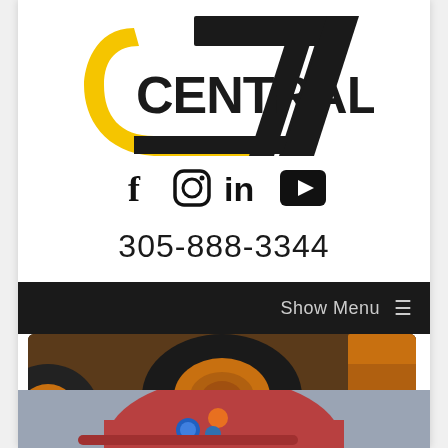[Figure (logo): Central 1 company logo with yellow arc and black text]
[Figure (infographic): Social media icons: Facebook, Instagram, LinkedIn, YouTube]
305-888-3344
[Figure (screenshot): Navigation bar with Show Menu hamburger icon on dark background]
[Figure (photo): Close-up photo of heavy construction equipment tire on dirt ground with Central 1 logo watermark]
[Figure (photo): Partial photo of a red hard hat with stickers on gray background]